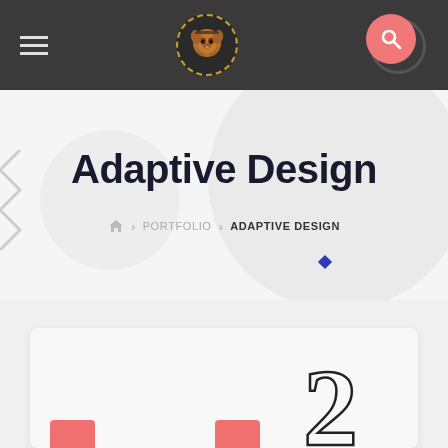Navigation bar with hamburger menu, dog logo, and search icon
Adaptive Design
HOME > PORTFOLIO > ADAPTIVE DESIGN
[Figure (screenshot): Bottom section with card, large numeral 2 outline, and red accent bars]